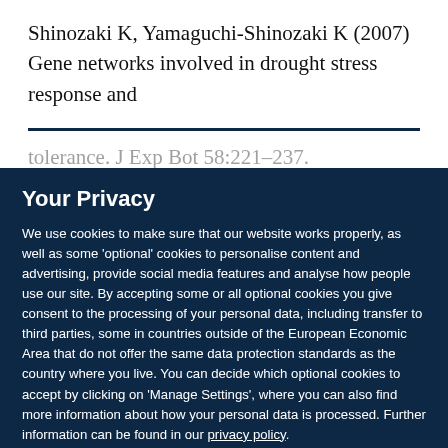Shinozaki K, Yamaguchi-Shinozaki K (2007) Gene networks involved in drought stress response and tolerance. J Exp Bot 58:221–237.
Your Privacy
We use cookies to make sure that our website works properly, as well as some 'optional' cookies to personalise content and advertising, provide social media features and analyse how people use our site. By accepting some or all optional cookies you give consent to the processing of your personal data, including transfer to third parties, some in countries outside of the European Economic Area that do not offer the same data protection standards as the country where you live. You can decide which optional cookies to accept by clicking on 'Manage Settings', where you can also find more information about how your personal data is processed. Further information can be found in our privacy policy.
Accept all cookies
Manage preferences